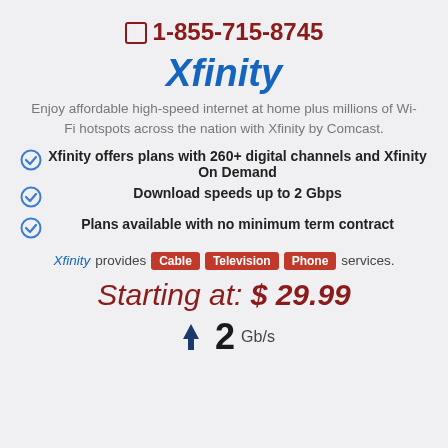☐ 1-855-715-8745
Xfinity
Enjoy affordable high-speed internet at home plus millions of Wi-Fi hotspots across the nation with Xfinity by Comcast.
Xfinity offers plans with 260+ digital channels and Xfinity On Demand
Download speeds up to 2 Gbps
Plans available with no minimum term contract
Xfinity provides Cable Television Phone services.
Starting at: $ 29.99
2 Gb/s